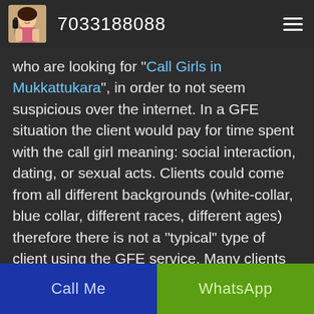7033188088
who are looking for "Call Girls in Mukkattukara", in order to not seem suspicious over the internet. In a GFE situation the client would pay for time spent with the call girl meaning: social interaction, dating, or sexual acts. Clients could come from all different backgrounds (white-collar, blue collar, different races, different ages) therefore there is not a "typical" type of client using the GFE service. Many clients emerge through the need for a feeling of closeness without the commitment of a relationship. To a certain extent it eliminates the
Call Me | WhatsApp